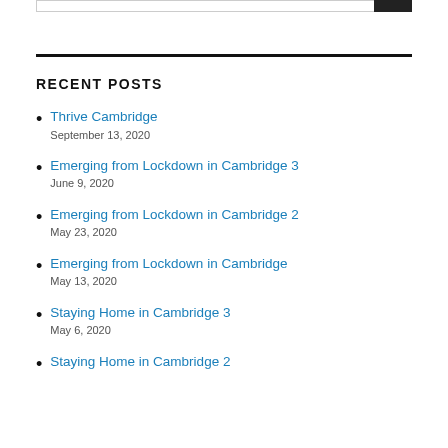RECENT POSTS
Thrive Cambridge
September 13, 2020
Emerging from Lockdown in Cambridge 3
June 9, 2020
Emerging from Lockdown in Cambridge 2
May 23, 2020
Emerging from Lockdown in Cambridge
May 13, 2020
Staying Home in Cambridge 3
May 6, 2020
Staying Home in Cambridge 2